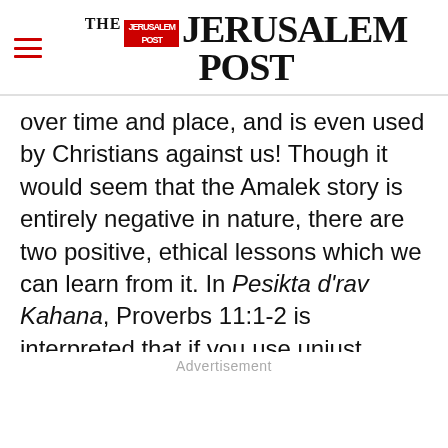THE JERUSALEM POST
over time and place, and is even used by Christians against us! Though it would seem that the Amalek story is entirely negative in nature, there are two positive, ethical lessons which we can learn from it. In Pesikta d'rav Kahana, Proverbs 11:1-2 is interpreted that if you use unjust weights and measures, a non-Jewish nation will wage war against your generation. According to this midrash, Amalek's attack was a punishment for unethical behavior. Thus, the
Advertisement